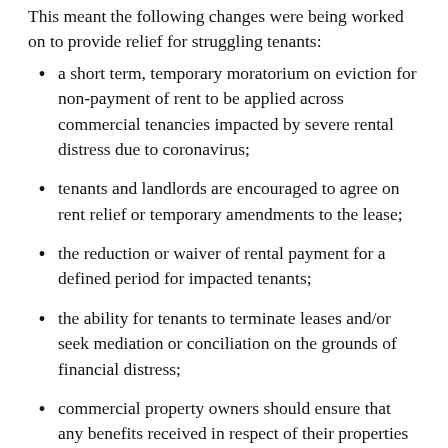This meant the following changes were being worked on to provide relief for struggling tenants:
a short term, temporary moratorium on eviction for non-payment of rent to be applied across commercial tenancies impacted by severe rental distress due to coronavirus;
tenants and landlords are encouraged to agree on rent relief or temporary amendments to the lease;
the reduction or waiver of rental payment for a defined period for impacted tenants;
the ability for tenants to terminate leases and/or seek mediation or conciliation on the grounds of financial distress;
commercial property owners should ensure that any benefits received in respect of their properties should also benefit their tenants in proportion to the economic